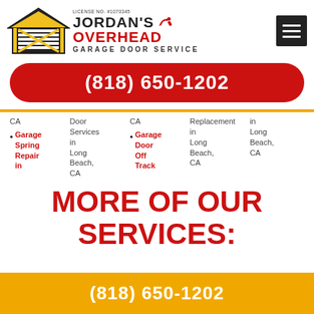[Figure (logo): Jordan's Overhead Garage Door Service logo with house/garage icon in yellow and black, wrench icon, license number #1070945]
(818) 650-1202
CA
Door Services in Long Beach, CA
Garage Spring Repair in
CA
Garage Door Off Track
Replacement in Long Beach, CA
in Long Beach, CA
MORE OF OUR SERVICES:
(818) 650-1202